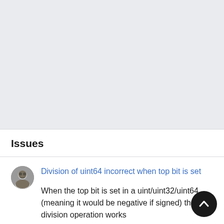Issues
Division of uint64 incorrect when top bit is set
When the top bit is set in a uint/uint32/uint64 (meaning it would be negative if signed) the division operation works